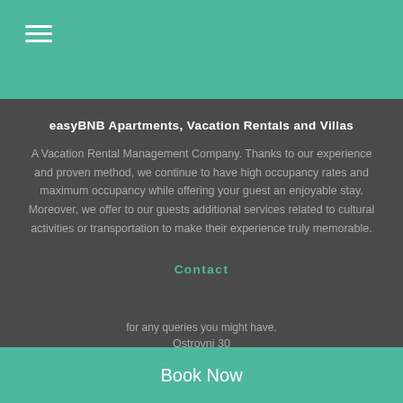≡ (hamburger menu icon)
easyBNB Apartments, Vacation Rentals and Villas
A Vacation Rental Management Company. Thanks to our experience and proven method, we continue to have high occupancy rates and maximum occupancy while offering your guest an enjoyable stay. Moreover, we offer to our guests additional services related to cultural activities or transportation to make their experience truly memorable.
Contact
Book Now
for any queries you might have.
Ostrovni 30